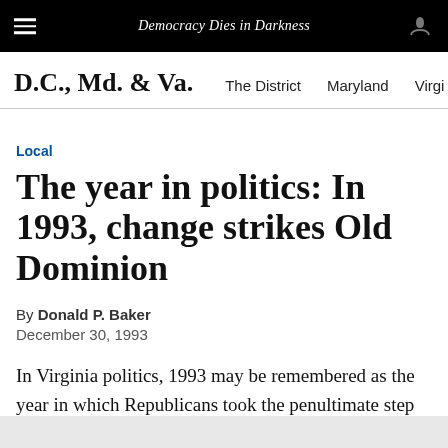Democracy Dies in Darkness
D.C., Md. & Va.   The District   Maryland   Virgi
Local
The year in politics: In 1993, change strikes Old Dominion
By Donald P. Baker
December 30, 1993
In Virginia politics, 1993 may be remembered as the year in which Republicans took the penultimate step toward assuming the role of majority party in this conservative